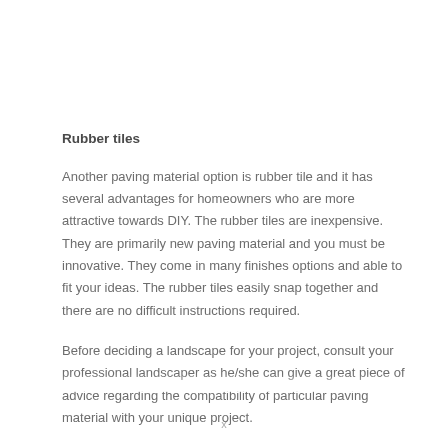Rubber tiles
Another paving material option is rubber tile and it has several advantages for homeowners who are more attractive towards DIY. The rubber tiles are inexpensive. They are primarily new paving material and you must be innovative. They come in many finishes options and able to fit your ideas. The rubber tiles easily snap together and there are no difficult instructions required.
Before deciding a landscape for your project, consult your professional landscaper as he/she can give a great piece of advice regarding the compatibility of particular paving material with your unique project.
x